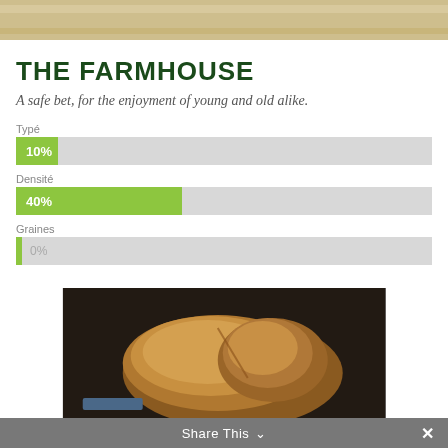[Figure (photo): Top portion of a photo showing grain/flour texture in beige and cream tones]
THE FARMHOUSE
A safe bet, for the enjoyment of young and old alike.
[Figure (bar-chart): Typé / Densité / Graines]
[Figure (photo): Photo of farmhouse bread loaf on dark background]
Share This ∨